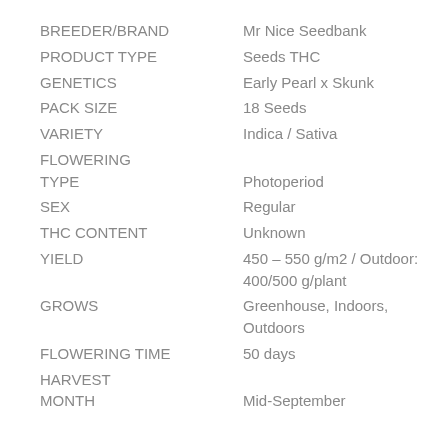| Field | Value |
| --- | --- |
| BREEDER/BRAND | Mr Nice Seedbank |
| PRODUCT TYPE | Seeds THC |
| GENETICS | Early Pearl x Skunk |
| PACK SIZE | 18 Seeds |
| VARIETY | Indica / Sativa |
| FLOWERING TYPE | Photoperiod |
| SEX | Regular |
| THC CONTENT | Unknown |
| YIELD | 450 – 550 g/m2 / Outdoor: 400/500 g/plant |
| GROWS | Greenhouse, Indoors, Outdoors |
| FLOWERING TIME | 50 days |
| HARVEST MONTH | Mid-September |